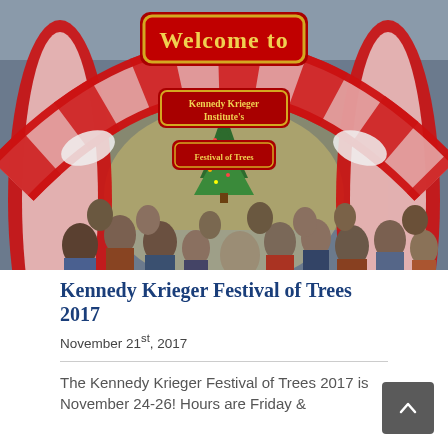[Figure (photo): Photo of a festive indoor event space with a large red and white candy-cane arch decorated with 'Welcome to Kennedy Krieger Institute's Festival of Trees' sign. Crowds of people walk through the arch toward a Christmas tree and decorated booths in the background.]
Kennedy Krieger Festival of Trees 2017
November 21st, 2017
The Kennedy Krieger Festival of Trees 2017 is November 24-26! Hours are Friday &